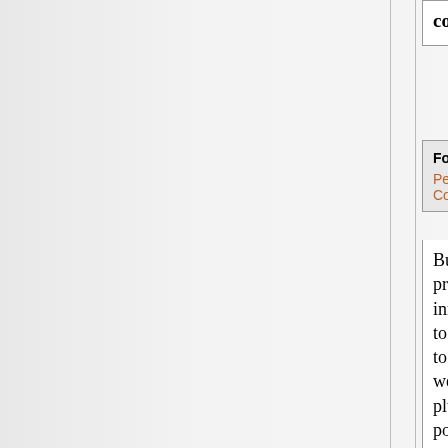costs, human or ecological.
FossilFool on July 28, 2006 - 10:40pm
Permalink | Parent | Comments top
But how are we supposed to fuel the production of these new technological innovations and the infrastructure it takes to make them full scale? There will have to be the production of everything else we had plus this new innovative stuff plus economic growth, which is not possible when the oil production